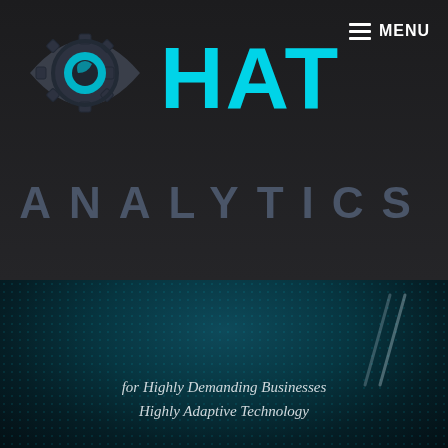[Figure (logo): HAT Analytics logo: eye shape with gear/cog and teal pupil, with HAT in large teal letters and ANALYTICS in dark gray spaced capitals below. Menu icon top right.]
HAT ANALYTICS
for Highly Demanding Businesses
Highly Adaptive Technology